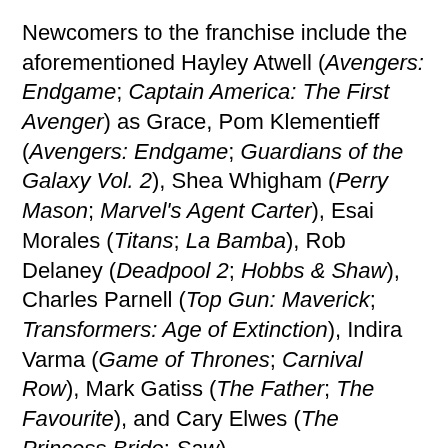Newcomers to the franchise include the aforementioned Hayley Atwell (Avengers: Endgame; Captain America: The First Avenger) as Grace, Pom Klementieff (Avengers: Endgame; Guardians of the Galaxy Vol. 2), Shea Whigham (Perry Mason; Marvel's Agent Carter), Esai Morales (Titans; La Bamba), Rob Delaney (Deadpool 2; Hobbs & Shaw), Charles Parnell (Top Gun: Maverick; Transformers: Age of Extinction), Indira Varma (Game of Thrones; Carnival Row), Mark Gatiss (The Father; The Favourite), and Cary Elwes (The Princess Bride; Saw).
Mission: Impossible 7 lights the fuse in theaters on September 30, 2022; followed by Mission: Impossible 8 on July 7, 2023.